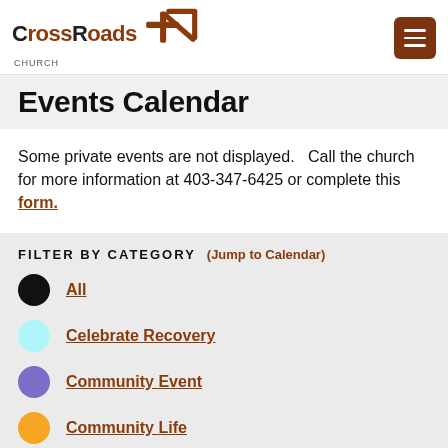CrossRoads Church
Events Calendar
Some private events are not displayed.   Call the church for more information at 403-347-6425 or complete this form.
FILTER BY CATEGORY (Jump to Calendar)
All
Celebrate Recovery
Community Event
Community Life
Early Childhood